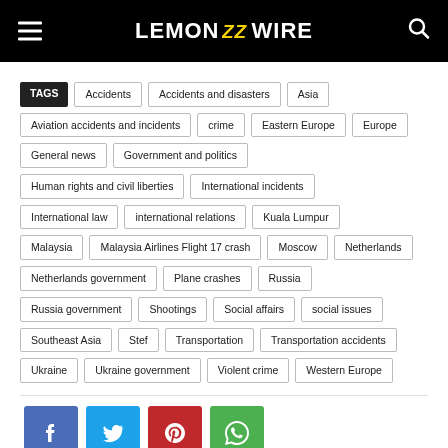LEMON ZZ WIRE
TAGS | Accidents | Accidents and disasters | Asia | Aviation accidents and incidents | crime | Eastern Europe | Europe | General news | Government and politics | Human rights and civil liberties | International incidents | International law | international relations | Kuala Lumpur | Malaysia | Malaysia Airlines Flight 17 crash | Moscow | Netherlands | Netherlands government | Plane crashes | Russia | Russia government | Shootings | Social affairs | social issues | Southeast Asia | Stef | Transportation | Transportation accidents | Ukraine | Ukraine government | Violent crime | Western Europe